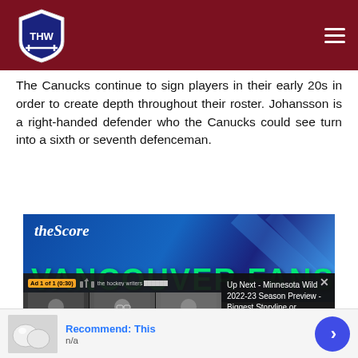THW - The Hockey Writers
The Canucks continue to sign players in their early 20s in order to create depth throughout their roster. Johansson is a right-handed defender who the Canucks could see turn into a sixth or seventh defenceman.
[Figure (screenshot): Embedded video player showing theScore 'VANCOUVER FANS!' video with an ad overlay bar reading 'Ad 1 of 1 (0:30)' and an 'Up Next - Minnesota Wild 2022-23 Season Preview - Biggest Storyline or Question Mark Going Into the Season' panel. Bottom has a blue bar with 'SCORES, STATS, AND NEWS' text. A 'Recommend: This / n/a' widget appears at the bottom.]